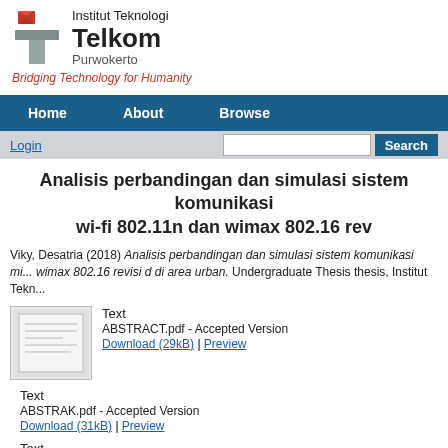[Figure (logo): Institut Teknologi Telkom Purwokerto logo with red book icon and grey T symbol]
Bridging Technology for Humanity
Home   About   Browse
Login   Search
Analisis perbandingan dan simulasi sistem komunikasi wi-fi 802.11n dan wimax 802.16 rev
Viky, Desatria (2018) Analisis perbandingan dan simulasi sistem komunikasi mi... wimax 802.16 revisi d di area urban. Undergraduate Thesis thesis, Institut Tekn...
Text
ABSTRACT.pdf - Accepted Version
Download (29kB) | Preview
Text
ABSTRAK.pdf - Accepted Version
Download (31kB) | Preview
Text
COVER.pdf - Accepted Version
Download (370kB)